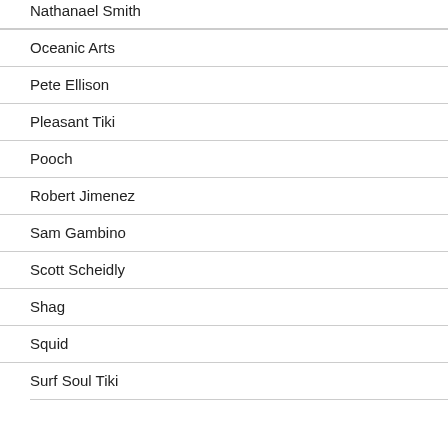Nathanael Smith
Oceanic Arts
Pete Ellison
Pleasant Tiki
Pooch
Robert Jimenez
Sam Gambino
Scott Scheidly
Shag
Squid
Surf Soul Tiki